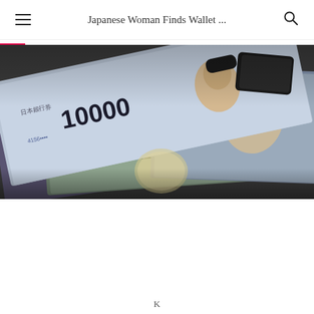Japanese Woman Finds Wallet ...
[Figure (photo): Close-up photograph of multiple Japanese yen banknotes (10000 yen and 5000 yen notes visible) fanned out, with a wallet partially visible in the background. The image is slightly blurred/bokeh style.]
K